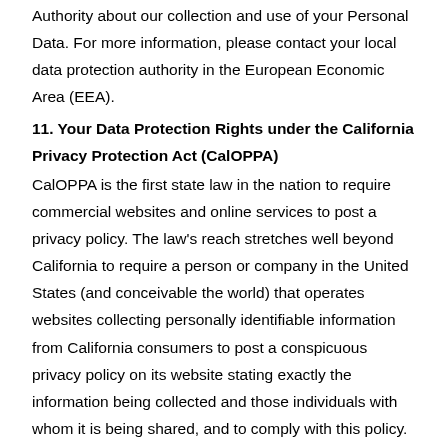Authority about our collection and use of your Personal Data. For more information, please contact your local data protection authority in the European Economic Area (EEA).
11. Your Data Protection Rights under the California Privacy Protection Act (CalOPPA)
CalOPPA is the first state law in the nation to require commercial websites and online services to post a privacy policy. The law's reach stretches well beyond California to require a person or company in the United States (and conceivable the world) that operates websites collecting personally identifiable information from California consumers to post a conspicuous privacy policy on its website stating exactly the information being collected and those individuals with whom it is being shared, and to comply with this policy.